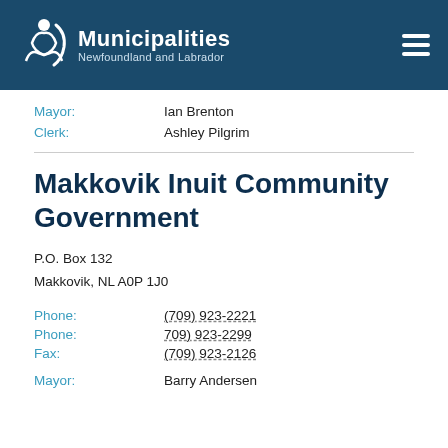[Figure (logo): Municipalities Newfoundland and Labrador logo with navigation header bar]
Mayor: Ian Brenton
Clerk: Ashley Pilgrim
Makkovik Inuit Community Government
P.O. Box 132
Makkovik, NL A0P 1J0
Phone: (709) 923-2221
Phone: 709) 923-2299
Fax: (709) 923-2126
Mayor: Barry Andersen